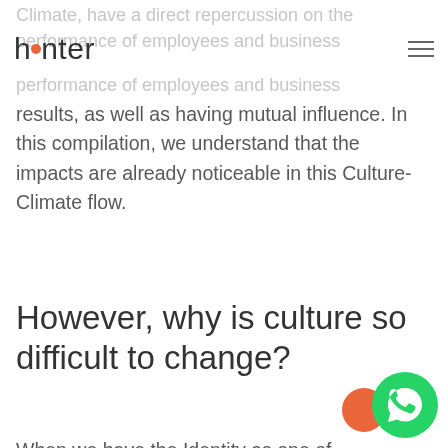hunter
Climate, have a direct repercussion on the performance of employees and business results, as well as having mutual influence. In this compilation, we understand that the impacts are already noticeable in this Culture-Climate flow.
However, why is culture so difficult to change?
When we have the Identity as one of the main guidelines, which means “to perceive itself as identical,” it becomes clear that the predominant factor for a possible change is PERCEPTION, which depends on mental models, a beliefs’ system and